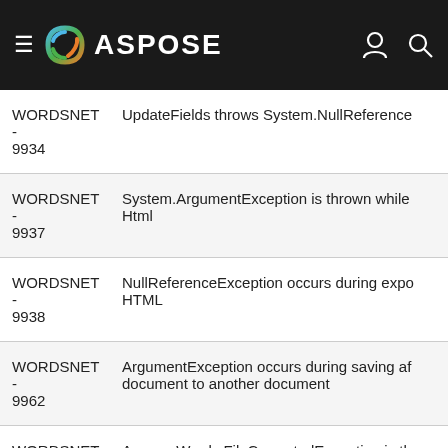ASPOSE
| ID | Description |
| --- | --- |
| WORDSNET-9934 | UpdateFields throws System.NullReference |
| WORDSNET-9937 | System.ArgumentException is thrown while Html |
| WORDSNET-9938 | NullReferenceException occurs during expo HTML |
| WORDSNET-9962 | ArgumentException occurs during saving af document to another document |
| WORDSNET-9976 | Aspose.Words.FileCorruptedException is th loading Docx |
| WORDSNET- | Underline tab characters are missed in outp |